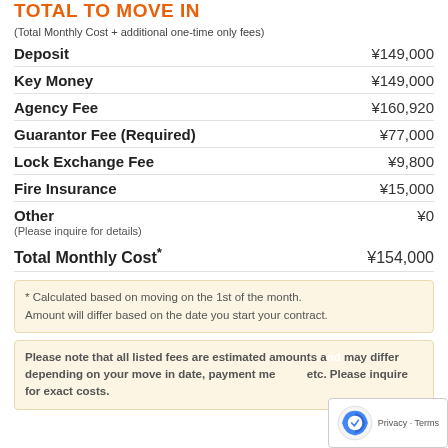TOTAL TO MOVE IN
(Total Monthly Cost + additional one-time only fees)
| Fee | Amount |
| --- | --- |
| Deposit | ¥149,000 |
| Key Money | ¥149,000 |
| Agency Fee | ¥160,920 |
| Guarantor Fee (Required) | ¥77,000 |
| Lock Exchange Fee | ¥9,800 |
| Fire Insurance | ¥15,000 |
| Other | ¥0 |
| Total Monthly Cost* | ¥154,000 |
(Please inquire for details)
* Calculated based on moving on the 1st of the month. Amount will differ based on the date you start your contract.
Please note that all listed fees are estimated amounts and may differ depending on your move in date, payment method, etc. Please inquire for exact costs.